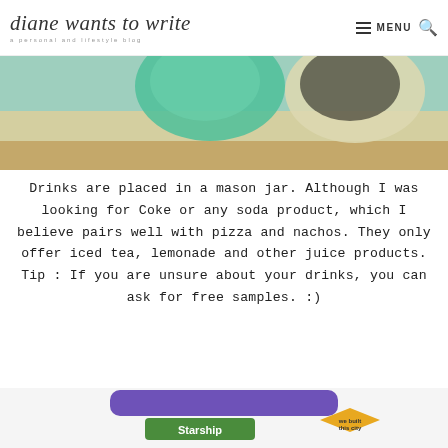diane wants to write — a personal and lifestyle blog | MENU
[Figure (photo): Top portion of photo showing two drink glasses (green and cream/yellow colored) in mason jars on a wooden surface, cropped at top]
Drinks are placed in a mason jar. Although I was looking for Coke or any soda product, which I believe pairs well with pizza and nachos. They only offer iced tea, lemonade and other juice products. Tip : If you are unsure about your drinks, you can ask for free samples. :)
[Figure (photo): Bottom portion showing a Starship 'We Built This City' board game or card with a green highway sign reading 'Starship' and a yellow diamond sign reading 'we built this city' with people/characters around it]